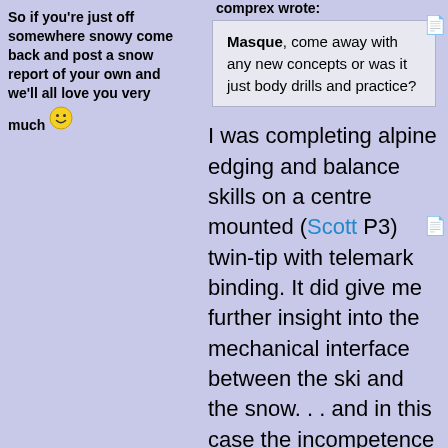So if you're just off somewhere snowy come back and post a snow report of your own and we'll all love you very much 🙂
comprex wrote:
Masque, come away with any new concepts or was it just body drills and practice?
I was completing alpine edging and balance skills on a centre mounted (Scott P3) twin-tip with telemark binding. It did give me further insight into the mechanical interface between the ski and the snow. . . and in this case the incompetence of the operator 🙂
I'm now quite sure that describing concentric paths is an easily defined set of forces, bending moment and ski shape . . . BUT the overriding variable is the snow itself in its density and structure.
As for how I skied? You'll have to ask f...